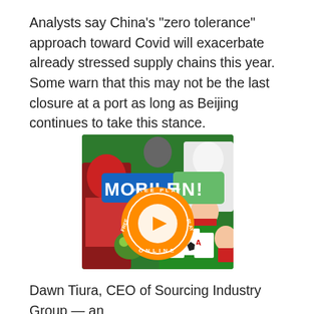Analysts say China's "zero tolerance" approach toward Covid will exacerbate already stressed supply chains this year. Some warn that this may not be the last closure at a port as long as Beijing continues to take this stance.
[Figure (illustration): Mobile Ini advertisement banner showing colorful animated game characters with text 'MOBILE INI' in blue and green block letters, an orange circle with 'FREE PLAY ONLINE' text and a play button arrow in the center.]
Dawn Tiura, CEO of Sourcing Industry Group — an